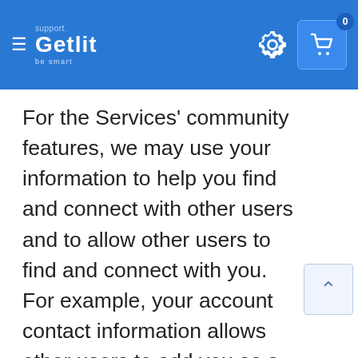support. Getlit be smart
For the Services' community features, we may use your information to help you find and connect with other users and to allow other users to find and connect with you. For example, your account contact information allows other users to add you as a friend. When another user has your email or mobile phone number in their contact list or in their friend network on a connected service, we show that user that you are a user of the Services.